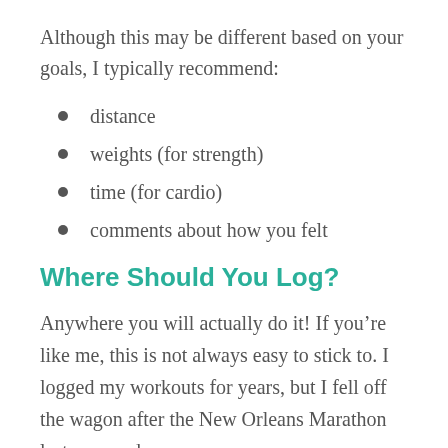Although this may be different based on your goals, I typically recommend:
distance
weights (for strength)
time (for cardio)
comments about how you felt
Where Should You Log?
Anywhere you will actually do it! If you’re like me, this is not always easy to stick to. I logged my workouts for years, but I fell off the wagon after the New Orleans Marathon last year and